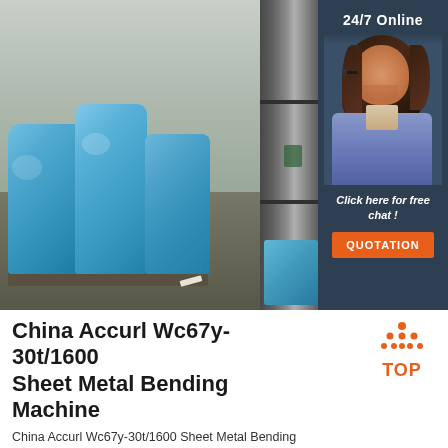[Figure (photo): Warehouse photo showing blue plastic-wrapped hydraulic press brake machines on pallets, with a large dark metal cabinet on the right side; a customer service sidebar on the far right shows a woman with a headset, '24/7 Online' text, 'Click here for free chat!' italicized text, and an orange QUOTATION button on a dark navy background.]
China Accurl Wc67y-30t/1600 Sheet Metal Bending Machine
China Accurl Wc67y-30t/1600 Sheet Metal Bending Machine, Find details about China Sheet Metal Bending Machine, Hydraulic Press Brake from Accurl Wc67y-